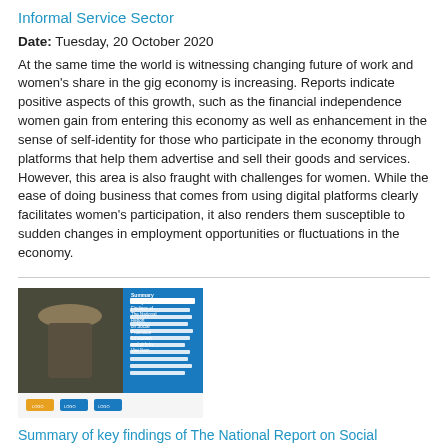Informal Service Sector
Date: Tuesday, 20 October 2020
At the same time the world is witnessing changing future of work and women's share in the gig economy is increasing. Reports indicate positive aspects of this growth, such as the financial independence women gain from entering this economy as well as enhancement in the sense of self-identity for those who participate in the economy through platforms that help them advertise and sell their goods and services. However, this area is also fraught with challenges for women. While the ease of doing business that comes from using digital platforms clearly facilitates women's participation, it also renders them susceptible to sudden changes in employment opportunities or fluctuations in the economy.
[Figure (photo): Cover image of a report titled 'Summary of Key Findings of The National Report on Social Protection for women and girls in Viet Nam', showing a woman in a hat with a blue background overlay and text.]
Summary of key findings of The National Report on Social Protection for women and girls in Viet Nam